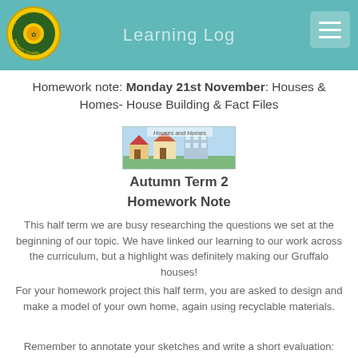Learning Log
Homework note: Monday 21st November: Houses & Homes- House Building & Fact Files
[Figure (illustration): Houses and Homes banner image showing illustrated houses and buildings]
Autumn Term 2
Homework Note
This half term we are busy researching the questions we set at the beginning of our topic. We have linked our learning to our work across the curriculum, but a highlight was definitely making our Gruffalo houses!
For your homework project this half term, you are asked to design and make a model of your own home, again using recyclable materials.
Remember to annotate your sketches and write a short evaluation: What you did, who worked with you, how you